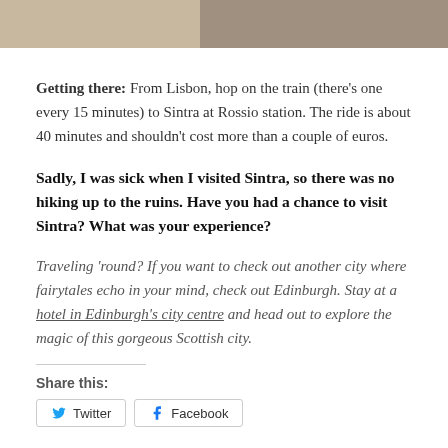[Figure (photo): Partial photo strip at top of page showing blurred image]
Getting there: From Lisbon, hop on the train (there's one every 15 minutes) to Sintra at Rossio station. The ride is about 40 minutes and shouldn't cost more than a couple of euros.
Sadly, I was sick when I visited Sintra, so there was no hiking up to the ruins. Have you had a chance to visit Sintra? What was your experience?
Traveling 'round? If you want to check out another city where fairytales echo in your mind, check out Edinburgh. Stay at a hotel in Edinburgh's city centre and head out to explore the magic of this gorgeous Scottish city.
Share this:
Twitter   Facebook